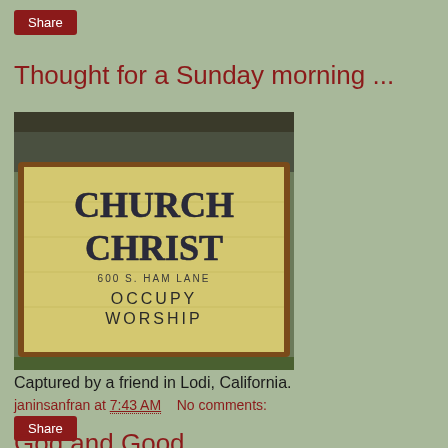Share
Thought for a Sunday morning ...
[Figure (photo): Photo of a Church of Christ sign reading 'CHURCH CHRIST 600 S. HAM LANE OCCUPY WORSHIP']
Captured by a friend in Lodi, California.
janinsanfran at 7:43 AM   No comments:
Share
God and Good